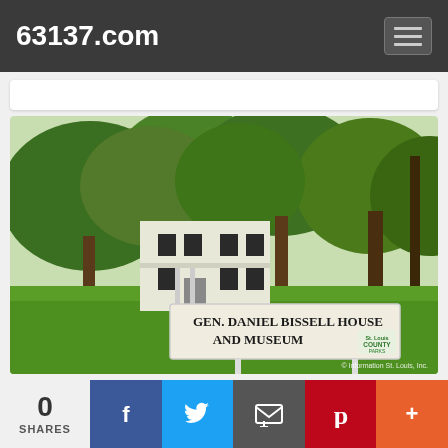63137.com
[Figure (photo): Photograph of the Gen. Daniel Bissell House and Museum. A white two-story historic house is visible behind large green trees. In the foreground is a white sign reading 'GEN. DANIEL BISSELL HOUSE AND MUSEUM' with a St. Louis County Parks logo. Watermark: '© Information St. Louis, Inc.']
0 SHARES